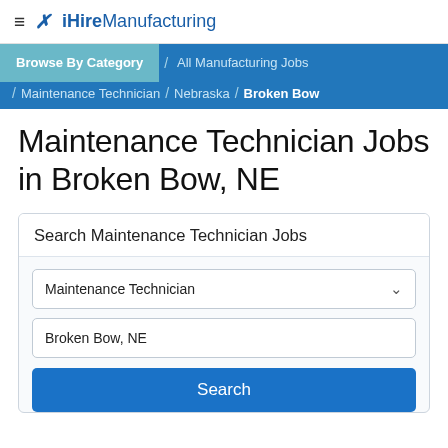≡ ✗ iHireManufacturing
Browse By Category / All Manufacturing Jobs / Maintenance Technician / Nebraska / Broken Bow
Maintenance Technician Jobs in Broken Bow, NE
Search Maintenance Technician Jobs
Maintenance Technician
Broken Bow, NE
Search